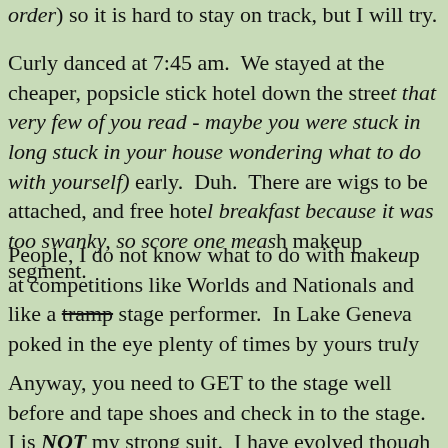order) so it is hard to stay on track, but I will try.
Curly danced at 7:45 am. We stayed at the cheaper, popsicle stick hotel down the street that very few of you read - maybe you were stuck in long stuck in your house wondering what to do with yourself) early. Duh. There are wigs to be attached, and free hotel breakfast because it was too swanky, so score one meash makeup segment.
People, I do not know what to do with makeup at competitions like Worlds and Nationals and like a tramp stage performer. In Lake Geneva poked in the eye plenty of times by yours truly
Anyway, you need to GET to the stage well before and tape shoes and check in to the stage. I is NOT my strong suit. I have evolved though